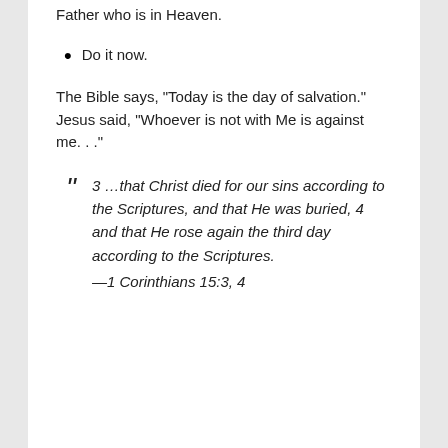Father who is in Heaven.
Do it now.
The Bible says, “Today is the day of salvation.”
Jesus said, “Whoever is not with Me is against me. . .”
“ 3 …that Christ died for our sins according to the Scriptures, and that He was buried, 4 and that He rose again the third day according to the Scriptures.
—1 Corinthians 15:3, 4